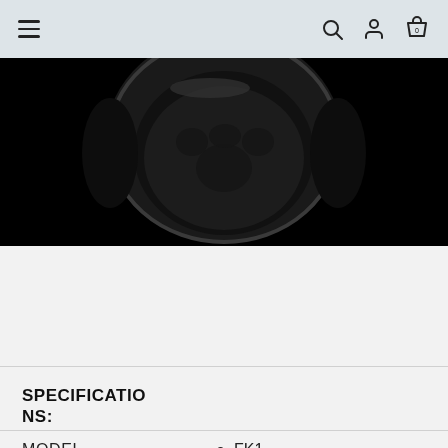≡  🔍 👤 🛍 0
[Figure (photo): Close-up product photo of a dark/black luggage wheel viewed from below against a black background. The wheel has a circular rubber/plastic base with paw-print-like indentations visible on the bottom surface.]
SPECIFICATIONS:
MODEL • FK1